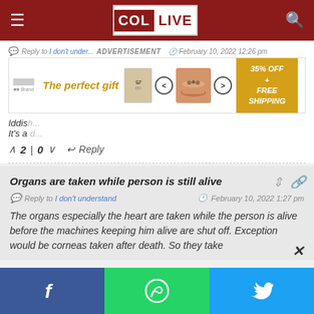COL LIVE
Reply to I don't understand   ADVERTISEMENT   February 10, 2022 12:26 pm
[Figure (infographic): Advertisement banner: 'The perfect gift' with product images of bowls/nuts and '35% OFF + FREE SHIPPING' offer in gold box]
Iddis... It's a...
2 | 0   Reply
Organs are taken while person is still alive
Reply to I don't understand   February 10, 2022 1:27 pm
The organs especially the heart are taken while the person is alive before the machines keeping him alive are shut off. Exception would be corneas taken after death. So they take
Facebook  WhatsApp  Twitter